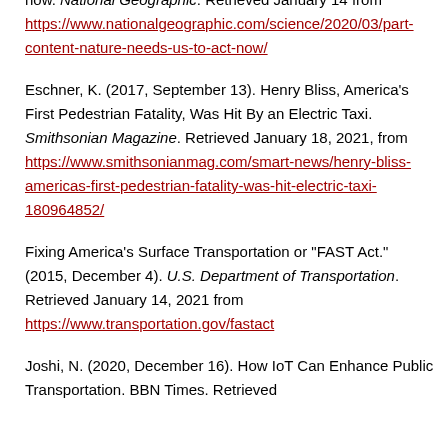now. National Geographic. Retrieved January 14 from https://www.nationalgeographic.com/science/2020/03/partner-content-nature-needs-us-to-act-now/
Eschner, K. (2017, September 13). Henry Bliss, America's First Pedestrian Fatality, Was Hit By an Electric Taxi. Smithsonian Magazine. Retrieved January 18, 2021, from https://www.smithsonianmag.com/smart-news/henry-bliss-americas-first-pedestrian-fatality-was-hit-electric-taxi-180964852/
Fixing America's Surface Transportation or "FAST Act." (2015, December 4). U.S. Department of Transportation. Retrieved January 14, 2021 from https://www.transportation.gov/fastact
Joshi, N. (2020, December 16). How IoT Can Enhance Public Transportation. BBN Times. Retrieved